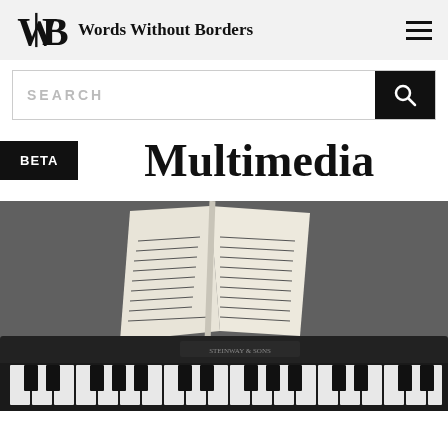Words Without Borders
SEARCH
Multimedia
[Figure (photo): Close-up photograph of a piano keyboard with open sheet music on a music stand, in black and white tones]